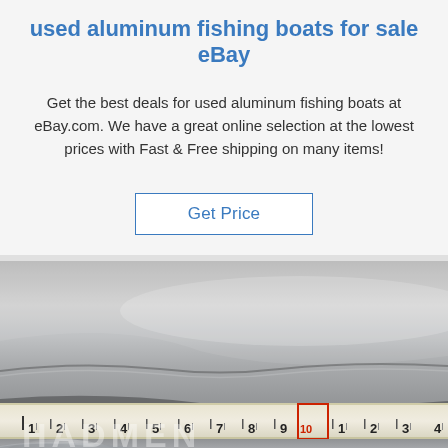used aluminum fishing boats for sale eBay
Get the best deals for used aluminum fishing boats at eBay.com. We have a great online selection at the lowest prices with Fast & Free shipping on many items!
Get Price
[Figure (photo): Close-up photograph of an aluminum boat surface with a measuring tape/ruler showing numbers 1 through 9 and continuing, with a watermark overlay reading HADMEN TOP]